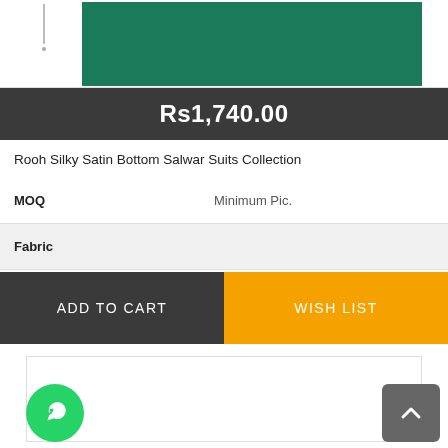[Figure (photo): Product image of teal/green salwar suit fabric with thumbnail strip on left]
Rs1,740.00
Rooh Silky Satin Bottom Salwar Suits Collection
| Attribute | Value |
| --- | --- |
| MOQ | Minimum Pic. |
| Fabric |  |
| Weight |  |
ADD TO CART
WISH LIST
[Figure (screenshot): Empty content box at bottom of page]
[Figure (logo): WhatsApp contact button (green circle with phone icon)]
[Figure (other): Back to top button (grey rounded square with upward chevron)]